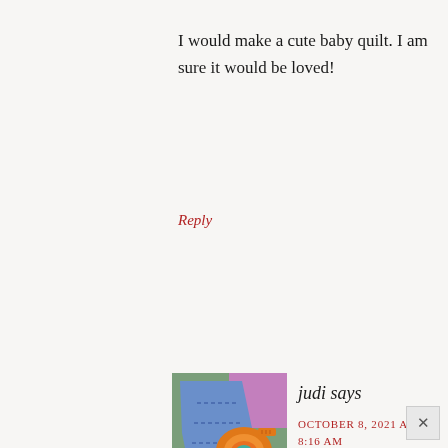I would make a cute baby quilt. I am sure it would be loved!
Reply
[Figure (illustration): Avatar image of a sewing/quilting themed cartoon illustration with a blue garment pattern, orange measuring tape coiled, teal decorative element, and purple fabric on a green background.]
judi says
OCTOBER 8, 2021 AT 8:16 AM
I have so many ideas! I would need to get my hands on them and let them talk to me. Thanks for give-